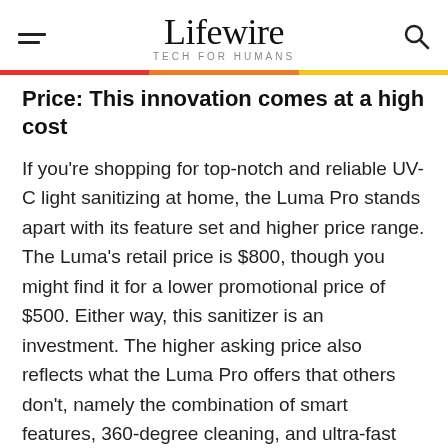Lifewire TECH FOR HUMANS
Price: This innovation comes at a high cost
If you're shopping for top-notch and reliable UV-C light sanitizing at home, the Luma Pro stands apart with its feature set and higher price range. The Luma's retail price is $800, though you might find it for a lower promotional price of $500. Either way, this sanitizer is an investment. The higher asking price also reflects what the Luma Pro offers that others don't, namely the combination of smart features, 360-degree cleaning, and ultra-fast cycles.